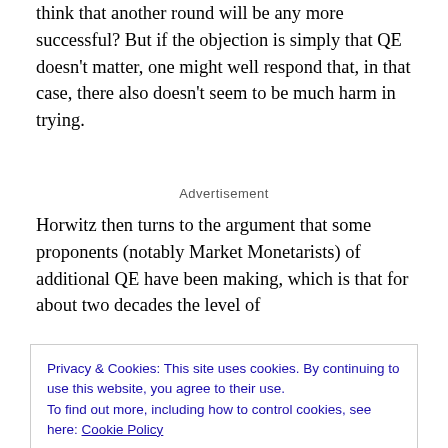think that another round will be any more successful? But if the objection is simply that QE doesn't matter, one might well respond that, in that case, there also doesn't seem to be much harm in trying.
Advertisement
Horwitz then turns to the argument that some proponents (notably Market Monetarists) of additional QE have been making, which is that for about two decades the level of
Privacy & Cookies: This site uses cookies. By continuing to use this website, you agree to their use.
To find out more, including how to control cookies, see here: Cookie Policy
Close and accept
economy at least part of the way back to that path, instead